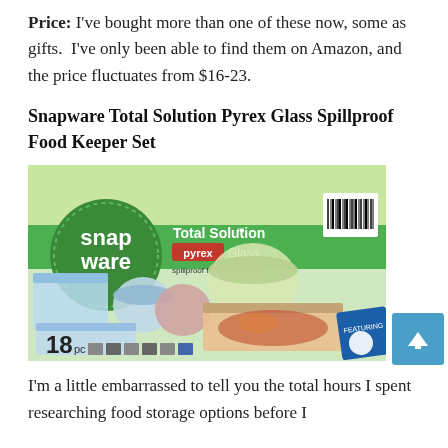Price: I've bought more than one of these now, some as gifts.  I've only been able to find them on Amazon, and the price fluctuates from $16-23.
Snapware Total Solution Pyrex Glass Spillproof Food Keeper Set
[Figure (photo): Product box of Snapware Total Solution Pyrex Glass Spillproof Food Keeper Set (18 pc), showing various glass food storage containers with lids on a green background.]
I'm a little embarrassed to tell you the total hours I spent researching food storage options before I